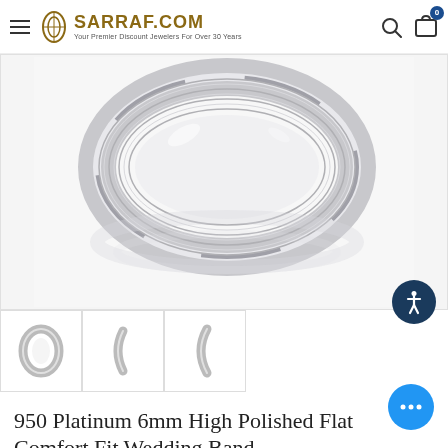SARRAF.COM — Your Premier Discount Jewelers For Over 30 Years
[Figure (photo): Close-up photo of a platinum wedding band ring, highly polished flat surface, shown from above at an angle with reflection below, on white background]
[Figure (photo): Three thumbnail images of the same platinum wedding band ring from different angles: front view, side profile, and another side profile]
950 Platinum 6mm High Polished Flat Comfort Fit Wedding Band